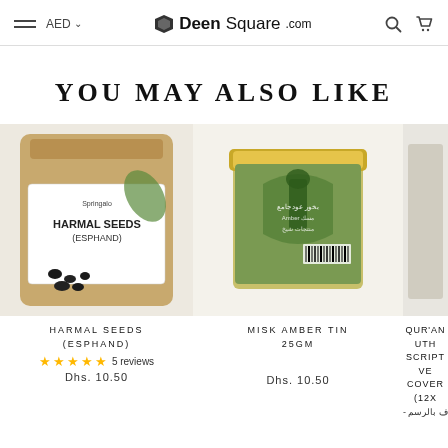DeenSquare.com | AED | Search | Cart
YOU MAY ALSO LIKE
[Figure (photo): Springalo Harmal Seeds (Esphand) product in a kraft paper resealable pouch with black seeds shown at the bottom]
HARMAL SEEDS (ESPHAND)
5 reviews
Dhs. 10.50
[Figure (photo): Misk Amber Tin 25gm - a decorative green and gold tin with Islamic architectural motifs and Arabic calligraphy]
MISK AMBER TIN 25GM
Dhs. 10.50
[Figure (photo): Partial view of Qur'an Uthmani Script Velvet Cover product]
QUR'AN UTH SCRIPT VE COVER (12X
ف بالرسم -